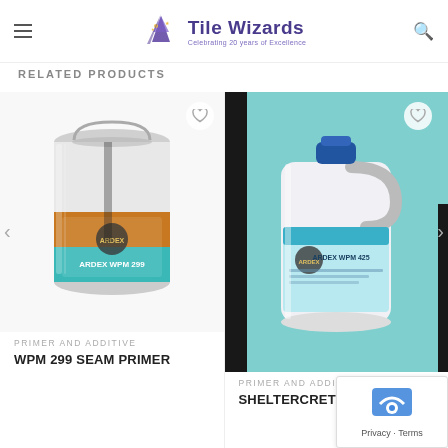[Figure (logo): Tile Wizards logo with wizard hat icon and text 'Celebrating 20 years of Excellence']
RELATED PRODUCTS
[Figure (photo): Can of ARDEX WPM 299 Seam Primer product with orange and teal label]
PRIMER AND ADDITIVE
WPM 299 SEAM PRIMER
[Figure (photo): Large white plastic jug of ARDEX WPM 425 Sheltercrete Additive with teal background]
PRIMER AND ADDITIVE
SHELTERCRETE ADDITI